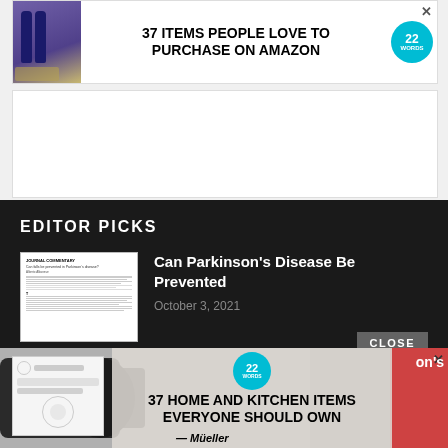[Figure (screenshot): Advertisement banner: '37 ITEMS PEOPLE LOVE TO PURCHASE ON AMAZON' with product bottles image and 22 Words badge]
[Figure (screenshot): White advertisement placeholder box]
EDITOR PICKS
[Figure (screenshot): Thumbnail image of article page about Parkinson's Disease]
Can Parkinson's Disease Be Prevented
October 3, 2021
[Figure (screenshot): CLOSE button overlay]
[Figure (screenshot): Advertisement overlay: '37 HOME AND KITCHEN ITEMS EVERYONE SHOULD OWN' with Mueller brand dumbbell/knife sharpener image and 22 Words badge, with X close button]
on's